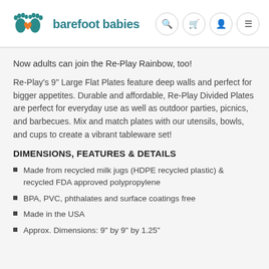barefoot babies
Now adults can join the Re-Play Rainbow, too!
Re-Play's 9" Large Flat Plates feature deep walls and perfect for bigger appetites. Durable and affordable, Re-Play Divided Plates are perfect for everyday use as well as outdoor parties, picnics, and barbecues. Mix and match plates with our utensils, bowls, and cups to create a vibrant tableware set!
DIMENSIONS, FEATURES & DETAILS
Made from recycled milk jugs (HDPE recycled plastic) & recycled FDA approved polypropylene
BPA, PVC, phthalates and surface coatings free
Made in the USA
Approx. Dimensions: 9" by 9" by 1.25"